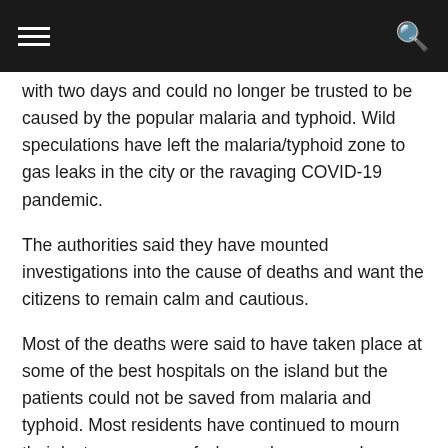with two days and could no longer be trusted to be caused by the popular malaria and typhoid. Wild speculations have left the malaria/typhoid zone to gas leaks in the city or the ravaging COVID-19 pandemic.
The authorities said they have mounted investigations into the cause of deaths and want the citizens to remain calm and cautious.
Most of the deaths were said to have taken place at some of the best hospitals on the island but the patients could not be saved from malaria and typhoid. Most residents have continued to mourn their lost ones some of who are lawyers and politicians.
The Rivers State government has not reacted to the situation but the local council authorities have tried to calm the residents